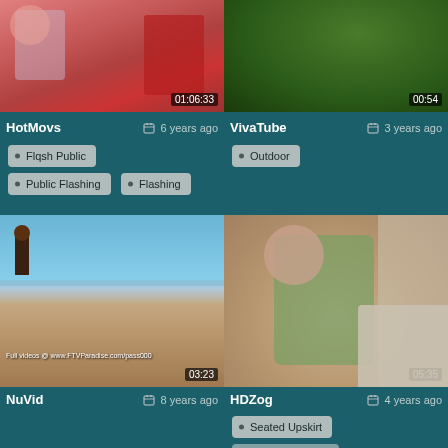[Figure (screenshot): Video thumbnail top left - person in pink top and white vest, indoor setting, duration 01:06:33]
[Figure (screenshot): Video thumbnail top right - outdoor greenery scene, duration 00:54]
HotMovs   6 years ago
VivaTube   3 years ago
Flqsh Public
Outdoor
Public Flashing
Flashing
[Figure (screenshot): Video thumbnail - beach scene with person, watermark Full videos @ www.FTVParadise.com/pass000, duration 03:23]
[Figure (screenshot): Video thumbnail - woman in green top seated in car, duration 05:35]
NuVid   8 years ago
HDZog   4 years ago
Seated Upskirt
Brazilian Upskirt